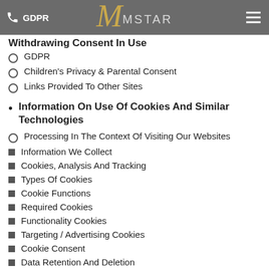GDPR | MSTAR
Withdrawing Consent In Use (partial, top of page)
GDPR
Children's Privacy & Parental Consent
Links Provided To Other Sites
Information On Use Of Cookies And Similar Technologies
Processing In The Context Of Visiting Our Websites
Information We Collect
Cookies, Analysis And Tracking
Types Of Cookies
Cookie Functions
Required Cookies
Functionality Cookies
Targeting / Advertising Cookies
Cookie Consent
Data Retention And Deletion
Use Of Analytics
Disabling and Opt-Out (partial, bottom of page)